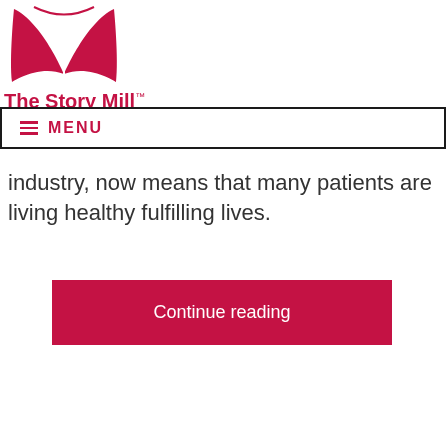[Figure (logo): The Story Mill logo: open book icon in crimson/pink above the text 'The Story Mill' with trademark symbol]
≡ MENU
industry, now means that many patients are living healthy fulfilling lives.
Continue reading